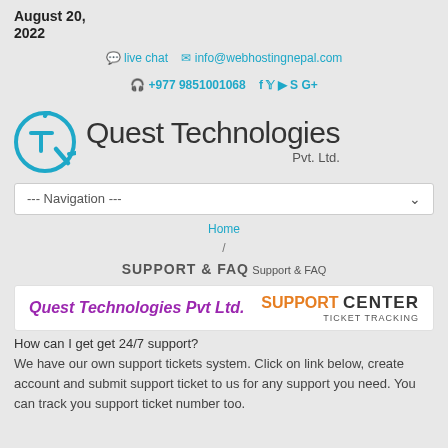August 20, 2022
live chat   info@webhostingnepal.com
+977 9851001068   f y yt S G+
[Figure (logo): Quest Technologies Pvt. Ltd. logo with circular TQ icon in teal/blue]
--- Navigation ---
Home / SUPPORT & FAQ  Support & FAQ
[Figure (infographic): Quest Technologies Pvt Ltd. SUPPORT CENTER TICKET TRACKING banner]
How can I get get 24/7 support?
We have our own support tickets system. Click on link below, create account and submit support ticket to us for any support you need. You can track you support ticket number too.